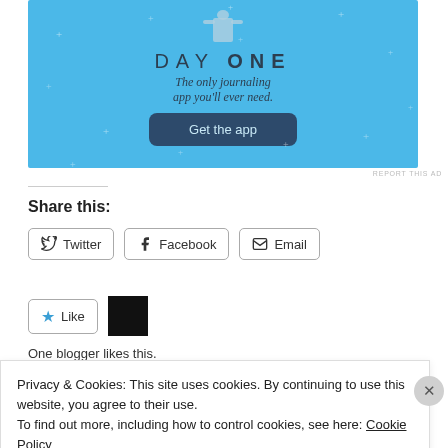[Figure (screenshot): Day One journaling app advertisement banner with light blue background, app icon at top, 'DAY ONE' title, subtitle 'The only journaling app you will ever need.', and 'Get the app' button]
REPORT THIS AD
Share this:
Twitter
Facebook
Email
Like
One blogger likes this.
Privacy & Cookies: This site uses cookies. By continuing to use this website, you agree to their use.
To find out more, including how to control cookies, see here: Cookie Policy
Close and accept